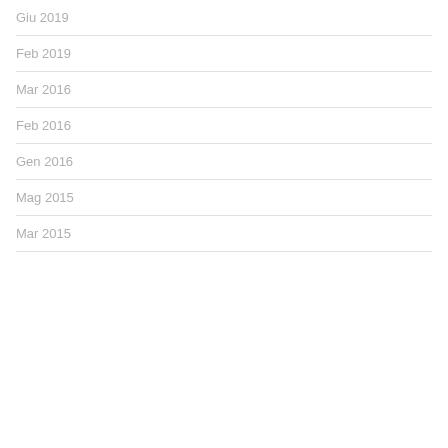Giu 2019
Feb 2019
Mar 2016
Feb 2016
Gen 2016
Mag 2015
Mar 2015